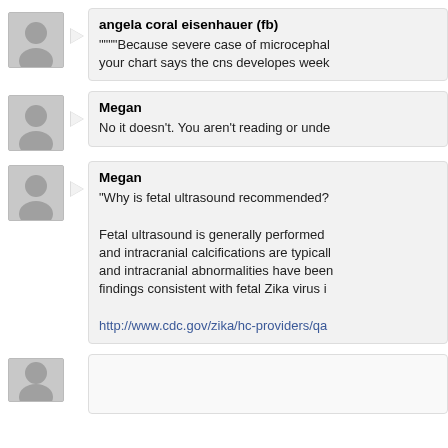angela coral eisenhauer (fb)
""""Because severe case of microcephaly your chart says the cns developes week
Megan
No it doesn't. You aren't reading or unde
Megan
"Why is fetal ultrasound recommended?
Fetal ultrasound is generally performed and intracranial calcifications are typically and intracranial abnormalities have been findings consistent with fetal Zika virus i
http://www.cdc.gov/zika/hc-providers/qa